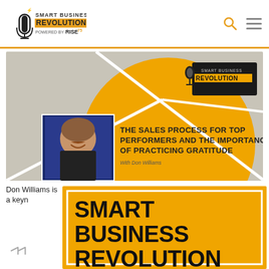[Figure (logo): Smart Business Revolution Powered by Rise25 logo]
[Figure (illustration): Podcast episode banner: THE SALES PROCESS FOR TOP PERFORMERS AND THE IMPORTANCE OF PRACTICING GRATITUDE With Don Williams]
Don Williams is a keyn
[Figure (illustration): Smart Business Revolution yellow branded graphic with large bold text]